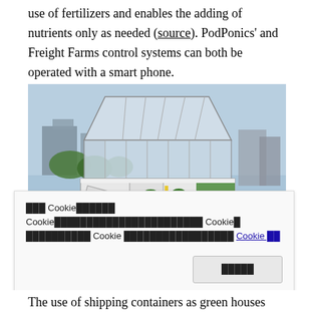use of fertilizers and enables the adding of nutrients only as needed (source). PodPonics' and Freight Farms control systems can both be operated with a smart phone.
[Figure (photo): Photograph of a shipping container farm with a greenhouse glass structure on top and open container doors showing plants inside. People are standing around and looking inside. Taken outdoors near a waterway with buildings in the background.]
███ Cookie██████ Cookie███████████████████████ Cookie█ ██████████ Cookie █████████████████ Cookie ██
The use of shipping containers as green houses